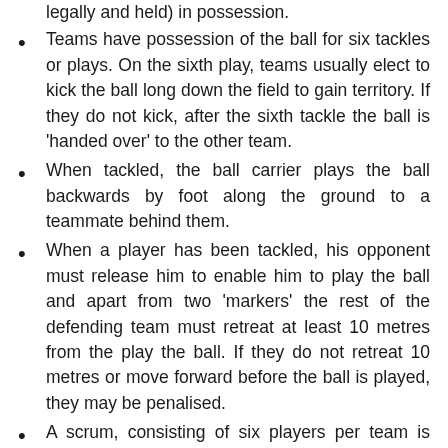legally and held) in possession.
Teams have possession of the ball for six tackles or plays. On the sixth play, teams usually elect to kick the ball long down the field to gain territory. If they do not kick, after the sixth tackle the ball is 'handed over' to the other team.
When tackled, the ball carrier plays the ball backwards by foot along the ground to a teammate behind them.
When a player has been tackled, his opponent must release him to enable him to play the ball and apart from two 'markers' the rest of the defending team must retreat at least 10 metres from the play the ball. If they do not retreat 10 metres or move forward before the ball is played, they may be penalised.
A scrum, consisting of six players per team is used to re-start the game after the ball has been 'knocked-on' or fumbled forward or when a